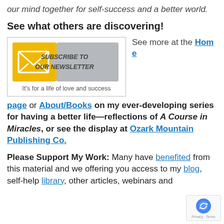our mind together for self-success and a better world.
See what others are discovering!
[Figure (other): Subscribe to Our Newsletter button image with puzzle piece design and yellow envelope icon]
It's for a life of love and success
See more at the Home page or About/Books on my ever-developing series for having a better life—reflections of A Course in Miracles, or see the display at Ozark Mountain Publishing Co.
Please Support My Work: Many have benefited from this material and we offering you access to my blog, self-help library, other articles, webinars and